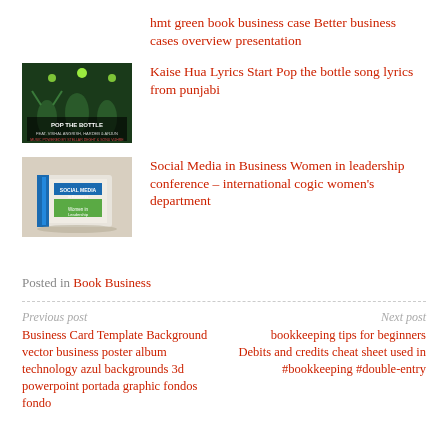hmt green book business case Better business cases overview presentation
[Figure (photo): Pop the Bottle album cover with green background and performers]
Kaise Hua Lyrics Start Pop the bottle song lyrics from punjabi
[Figure (photo): Stack of books with blue and green covers]
Social Media in Business Women in leadership conference – international cogic women's department
Posted in Book Business
Previous post
Business Card Template Background vector business poster album technology azul backgrounds 3d powerpoint portada graphic fondos fondo
Next post
bookkeeping tips for beginners Debits and credits cheat sheet used in #bookkeeping #double-entry